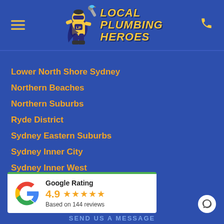[Figure (logo): Local Plumbing Heroes logo with superhero plumber character and yellow text on blue background]
Lower North Shore Sydney
Northern Beaches
Northern Suburbs
Ryde District
Sydney Eastern Suburbs
Sydney Inner City
Sydney Inner West
Sydney Upper North Shore
[Figure (infographic): Google Rating widget showing 4.9 stars based on 144 reviews with Google G logo]
SEND US A MESSAGE